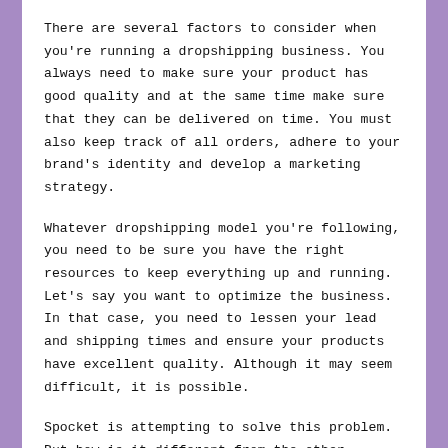There are several factors to consider when you're running a dropshipping business. You always need to make sure your product has good quality and at the same time make sure that they can be delivered on time. You must also keep track of all orders, adhere to your brand's identity and develop a marketing strategy.
Whatever dropshipping model you're following, you need to be sure you have the right resources to keep everything up and running. Let's say you want to optimize the business. In that case, you need to lessen your lead and shipping times and ensure your products have excellent quality. Although it may seem difficult, it is possible.
Spocket is attempting to solve this problem. But how is it different from the other platforms? You'll find all the information you need here. We will examine its features, pricing, and pros and cons. We'll help you figure out if Spocket is right for your business.
Not an avid reader? We got you covered! This video by Knowledge by